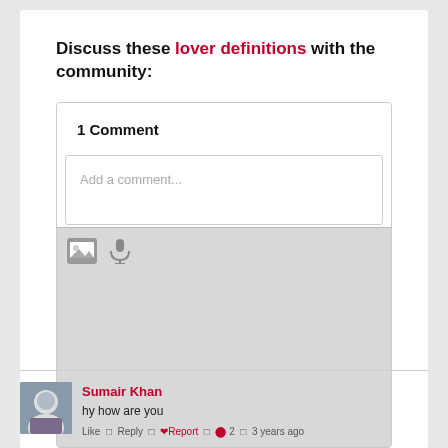Discuss these lover definitions with the community:
1 Comment
Add a comment...
Notify me of new comments via email.
Sumair Khan
hy how are you
Like  Reply  Report  2  3 years ago